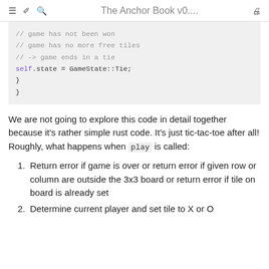≡  ✏  🔍  The Anchor Book v0....  🖨
// game has not been won
        // game has no more free tiles
        // -> game ends in a tie
        self.state = GameState::Tie;
    }
}
We are not going to explore this code in detail together because it's rather simple rust code. It's just tic-tac-toe after all! Roughly, what happens when play is called:
Return error if game is over or return error if given row or column are outside the 3x3 board or return error if tile on board is already set
Determine current player and set tile to X or O